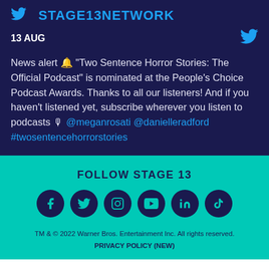STAGE13NETWORK
13 AUG
News alert 🔔 "Two Sentence Horror Stories: The Official Podcast" is nominated at the People's Choice Podcast Awards. Thanks to all our listeners! And if you haven't listened yet, subscribe wherever you listen to podcasts 🎙 @meganrosati @danielleradford #twosentencehorrorstories
FOLLOW STAGE 13
TM & © 2022 Warner Bros. Entertainment Inc. All rights reserved.
PRIVACY POLICY (NEW)